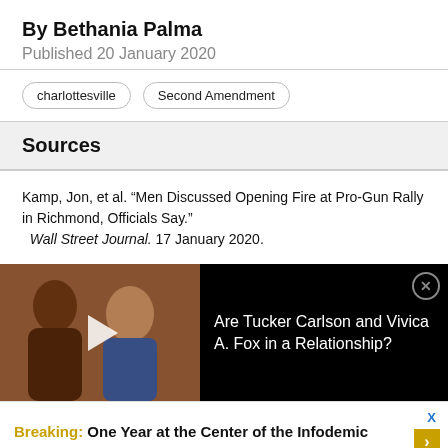By Bethania Palma
Published 20 January 2020
charlottesville
Second Amendment
Sources
Kamp, Jon, et al. “Men Discussed Opening Fire at Pro-Gun Rally in Richmond, Officials Say.” Wall Street Journal. 17 January 2020.
[Figure (photo): Video thumbnail showing two people, with a play button overlay. Ad for 'Are Tucker Carlson and Vivica A. Fox in a Relationship?']
Are Tucker Carlson and Vivica A. Fox in a Relationship?
Breaking: One Year at the Center of the Infodemic